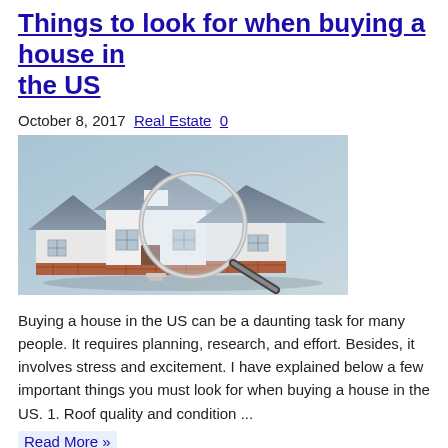Things to look for when buying a house in the US
October 8, 2017  Real Estate  0
[Figure (photo): Photo of a model house being examined under a magnifying glass, with white siding and brick foundation, against a light blue-grey background.]
Buying a house in the US can be a daunting task for many people. It requires planning, research, and effort. Besides, it involves stress and excitement. I have explained below a few important things you must look for when buying a house in the US. 1. Roof quality and condition ...
Read More »
Slow US Visa Processing has made the country less willing ...